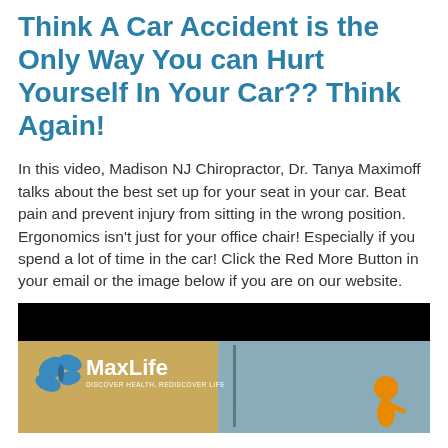Think A Car Accident is the Only Way You can Hurt Yourself In Your Car?? Think Again!
In this video, Madison NJ Chiropractor, Dr. Tanya Maximoff talks about the best set up for your seat in your car. Beat pain and prevent injury from sitting in the wrong position. Ergonomics isn't just for your office chair! Especially if you spend a lot of time in the car! Click the Red More Button in your email or the image below if you are on our website.
[Figure (screenshot): Video thumbnail showing MaxLife chiropractic logo on a yellow/tan background with a car door/window visible and a person silhouette icon in orange on the right side. Black bar at top.]